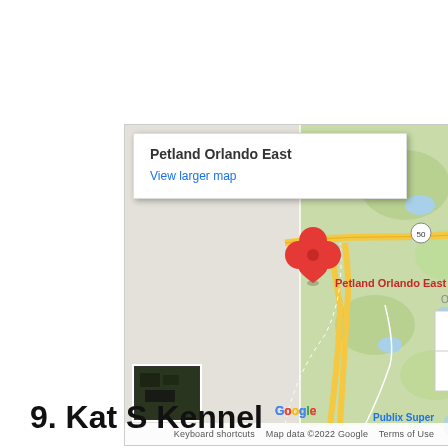[Figure (map): Google Maps screenshot showing location of Petland Orlando East. A red map pin marker labeled 'Petland Orlando East' is visible near a highway interchange. The map shows green areas, roads, and nearby landmarks. Map popup shows 'Petland Orlando East' title and 'View larger map' link. Bottom bar shows 'Keyboard shortcuts | Map data ©2022 Google | Terms of Use'. Zoom controls (+/-) on right side. Satellite thumbnail in bottom-left corner.]
9. Kat S Kennel
...